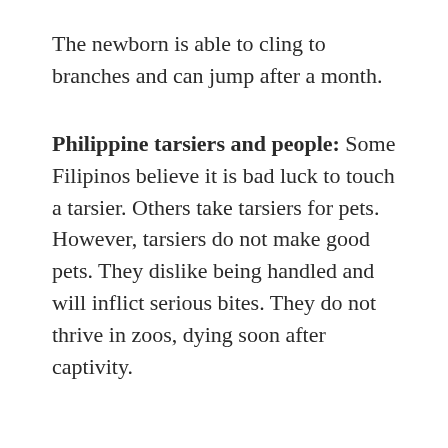The newborn is able to cling to branches and can jump after a month.
Philippine tarsiers and people: Some Filipinos believe it is bad luck to touch a tarsier. Others take tarsiers for pets. However, tarsiers do not make good pets. They dislike being handled and will inflict serious bites. They do not thrive in zoos, dying soon after captivity.